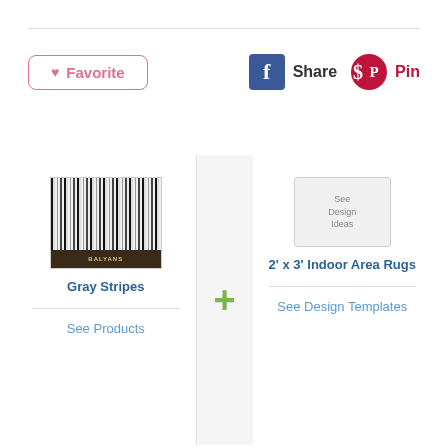♥ Favorite
Share
Pin
[Figure (other): Product card with Gray Stripes fabric swatch on left, plus sign in middle, and 'See Design Ideas' placeholder box on right. Left card shows 'Gray Stripes' title and 'See Products' link. Right card shows '2' x 3' Indoor Area Rugs' title and 'See Design Templates' link.]
Related Gray Stripes
Home + Wall Decor Products